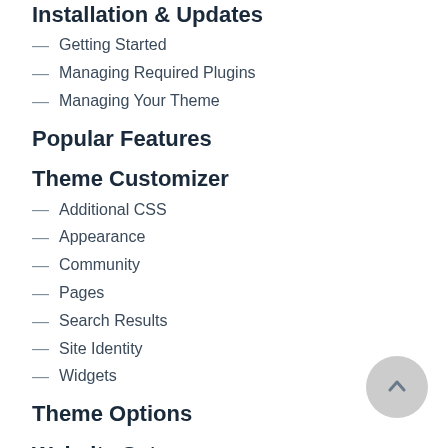Installation & Updates
— Getting Started
— Managing Required Plugins
— Managing Your Theme
Popular Features
Theme Customizer
— Additional CSS
— Appearance
— Community
— Pages
— Search Results
— Site Identity
— Widgets
Theme Options
Website Setup
— Pages
— Widget Areas
— Widgets